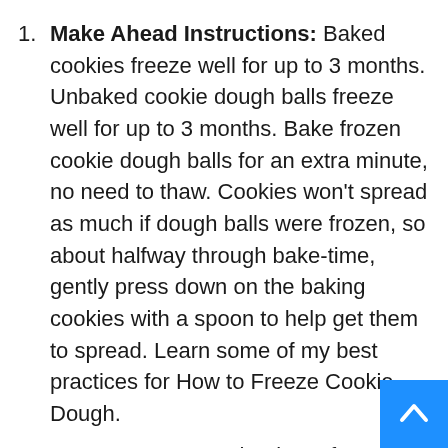Make Ahead Instructions: Baked cookies freeze well for up to 3 months. Unbaked cookie dough balls freeze well for up to 3 months. Bake frozen cookie dough balls for an extra minute, no need to thaw. Cookies won't spread as much if dough balls were frozen, so about halfway through bake-time, gently press down on the baking cookies with a spoon to help get them to spread. Learn some of my best practices for How to Freeze Cookie Dough.
Peanut Butter: At the time of publication, there is a recall on Jif peanut butters. Please consider researching the recall information and use another brand of peanut butter in this recipe. We tested it with Skippy Creamy, Justin's Natural Creamy, and Wegmans brand Natural Creamy. If